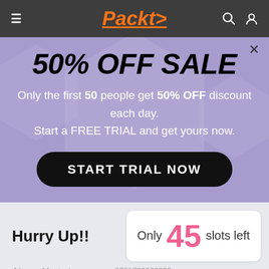Packt>
50% OFF SALE
Only the first 50 people get 50% OFF discount each day. Start a FREE TRIAL and get yours now.
START TRIAL NOW
Hurry Up!!
Only 45 slots left
4 hours 44 minutes
9781780023236
Download code from